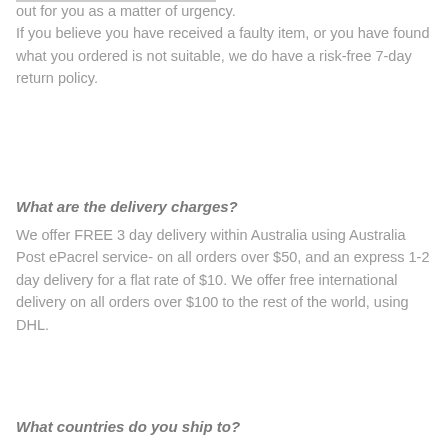out for you as a matter of urgency.
If you believe you have received a faulty item, or you have found what you ordered is not suitable, we do have a risk-free 7-day return policy.
What are the delivery charges?
We offer FREE 3 day delivery within Australia using Australia Post ePacrel service- on all orders over $50, and an express 1-2 day delivery for a flat rate of $10. We offer free international delivery on all orders over $100 to the rest of the world, using DHL.
What countries do you ship to?